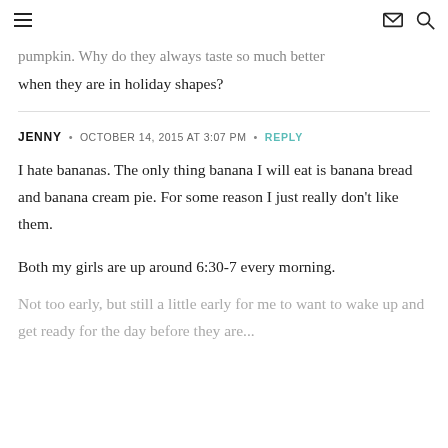[hamburger menu] [envelope icon] [search icon]
pumpkin. Why do they always taste so much better when they are in holiday shapes?
JENNY • OCTOBER 14, 2015 AT 3:07 PM • REPLY
I hate bananas. The only thing banana I will eat is banana bread and banana cream pie. For some reason I just really don't like them.
Both my girls are up around 6:30-7 every morning.
Not too early, but still a little early for me to want to wake up and get ready for the day before they are...